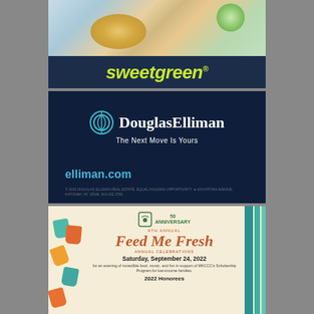[Figure (photo): Sweetgreen advertisement with food photo (salad bowl) at top and 'sweetgreen' logo in yellow-green on dark navy background]
[Figure (logo): Douglas Elliman real estate advertisement on dark navy background. Logo with circular icon and 'DouglasElliman' text, tagline 'The Next Move Is Yours', URL 'elliman.com', and copyright footer '© 2022 DOUGLAS ELLIMAN REAL ESTATE. EQUAL HOUSING OPPORTUNITY. 63 KATRINA AVENUE, KATONAH, NY 10536. 914.232.3700']
[Figure (infographic): Feed Me Fresh gala event advertisement on cream background. Shows '9TH ANNUAL Feed Me Fresh ANNUAL CELEBRATIONS' heading, date 'Saturday, September 24, 2022', description 'for an evening of incredible food, music, and fun in support of MKCCC's Scholarship Program for low-income families.', '2022 Honorees' section, colorful handprints on left, teal accent bars on right, organization 50th anniversary logo at top.]